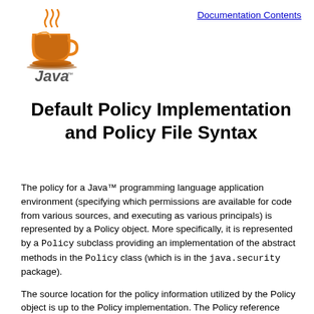[Figure (logo): Java programming language logo: a steaming coffee cup with 'Java' text below]
Documentation Contents
Default Policy Implementation and Policy File Syntax
The policy for a Java™ programming language application environment (specifying which permissions are available for code from various sources, and executing as various principals) is represented by a Policy object. More specifically, it is represented by a Policy subclass providing an implementation of the abstract methods in the Policy class (which is in the java.security package).
The source location for the policy information utilized by the Policy object is up to the Policy implementation. The Policy reference implementation obtains its information